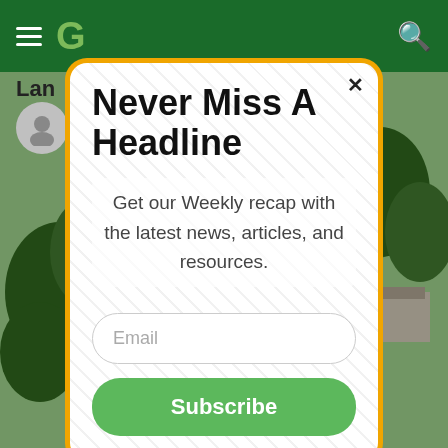G
[Figure (screenshot): Aerial view of a golf course with green fairways, trees, and a building/facility in the background]
Never Miss A Headline
Get our Weekly recap with the latest news, articles, and resources.
Email
Subscribe